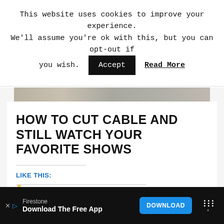This website uses cookies to improve your experience. We'll assume you're ok with this, but you can opt-out if you wish. Accept Read More
[Figure (photo): A narrow horizontal strip of a greyscale/muted photo visible behind the article]
HOW TO CUT CABLE AND STILL WATCH YOUR FAVORITE SHOWS
LIKE THIS:
Loading...
[Figure (infographic): Advertisement banner: Firestone — Download The Free App — DOWNLOAD button]